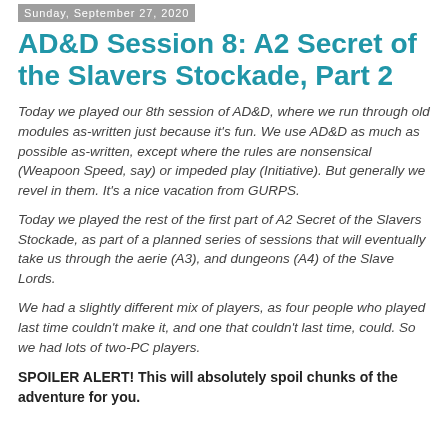Sunday, September 27, 2020
AD&D Session 8: A2 Secret of the Slavers Stockade, Part 2
Today we played our 8th session of AD&D, where we run through old modules as-written just because it's fun. We use AD&D as much as possible as-written, except where the rules are nonsensical (Weapoon Speed, say) or impeded play (Initiative). But generally we revel in them. It's a nice vacation from GURPS.
Today we played the rest of the first part of A2 Secret of the Slavers Stockade, as part of a planned series of sessions that will eventually take us through the aerie (A3), and dungeons (A4) of the Slave Lords.
We had a slightly different mix of players, as four people who played last time couldn't make it, and one that couldn't last time, could. So we had lots of two-PC players.
SPOILER ALERT! This will absolutely spoil chunks of the adventure for you.